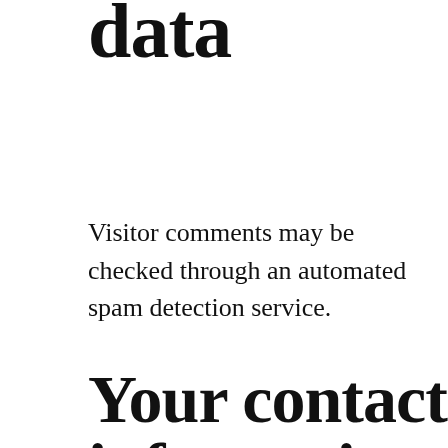data
Visitor comments may be checked through an automated spam detection service.
Your contact information
Additional